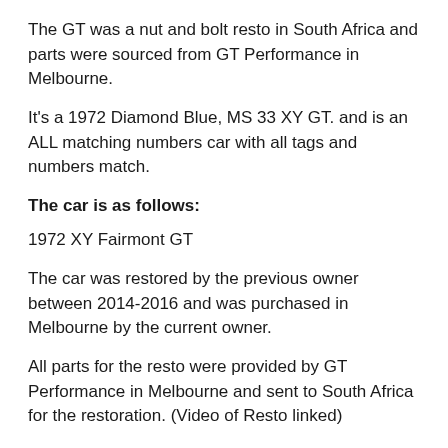The GT was a nut and bolt resto in South Africa and parts were sourced from GT Performance in Melbourne.
It's a 1972 Diamond Blue, MS 33 XY GT. and is an ALL matching numbers car with all tags and numbers match.
The car is as follows:
1972 XY Fairmont GT
The car was restored by the previous owner between 2014-2016 and was purchased in Melbourne by the current owner.
All parts for the resto were provided by GT Performance in Melbourne and sent to South Africa for the restoration. (Video of Resto linked)
Engine.
351 Cleveland D block with 4V heads,